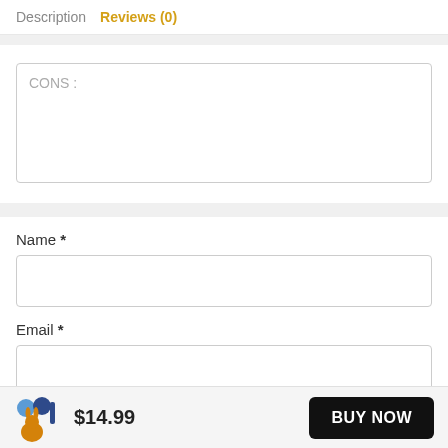Description  Reviews (0)
CONS:
Name *
Email *
$14.99
BUY NOW